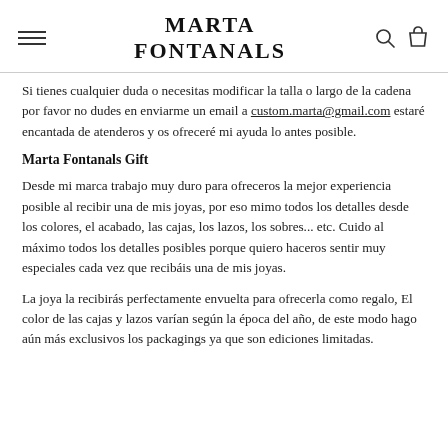MARTA FONTANALS
Si tienes cualquier duda o necesitas modificar la talla o largo de la cadena por favor no dudes en enviarme un email a custom.marta@gmail.com estaré encantada de atenderos y os ofreceré mi ayuda lo antes posible.
Marta Fontanals Gift
Desde mi marca trabajo muy duro para ofreceros la mejor experiencia posible al recibir una de mis joyas, por eso mimo todos los detalles desde los colores, el acabado, las cajas, los lazos, los sobres... etc. Cuido al máximo todos los detalles posibles porque quiero haceros sentir muy especiales cada vez que recibáis una de mis joyas.
La joya la recibirás perfectamente envuelta para ofrecerla como regalo, El color de las cajas y lazos varían según la época del año, de este modo hago aún más exclusivos los packagings ya que son ediciones limitadas.